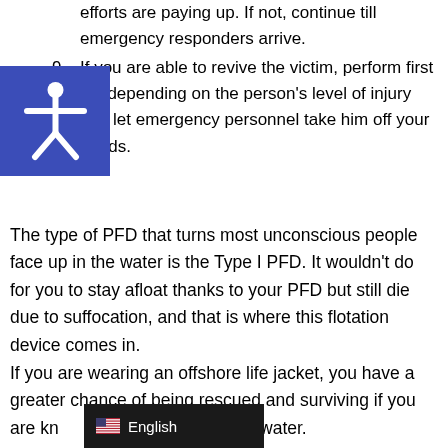efforts are paying up. If not, continue till emergency responders arrive.
9. If you are able to revive the victim, perform first aid depending on the person's level of injury and let emergency personnel take him off your hands.
[Figure (illustration): Accessibility icon — white stick figure with arms outstretched on a blue square background]
The type of PFD that turns most unconscious people face up in the water is the Type I PFD. It wouldn't do for you to stay afloat thanks to your PFD but still die due to suffocation, and that is where this flotation device comes in.
If you are wearing an offshore life jacket, you have a greater chance of being rescued and surviving if you are knocked unconscious in the water.
[Figure (other): Language selector bar showing English with US flag icon on dark background]